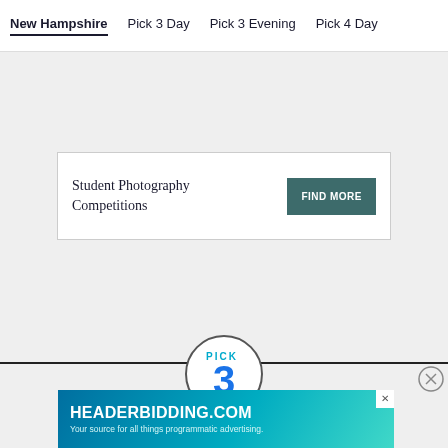New Hampshire  Pick 3 Day  Pick 3 Evening  Pick 4 Day
[Figure (screenshot): Gray background content area with a promotional box containing 'Student Photography Competitions' text and a 'FIND MORE' button]
Student Photography Competitions
[Figure (infographic): PICK 3 circular badge logo at the bottom of the page]
[Figure (screenshot): Ad banner for HEADERBIDDING.COM - Your source for all things programmatic advertising]